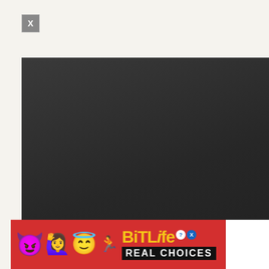[Figure (screenshot): Close button (X) in grey square, top left of ad overlay]
[Figure (screenshot): Video player with dark grey background, play button and 0:00 timestamp, progress bar at bottom]
[Figure (screenshot): BitLife advertisement banner with red background, emoji characters (devil, woman, angel face, sperm), BitLife logo in yellow, question and close buttons, REAL CHOICES tagline in white, white box on right edge]